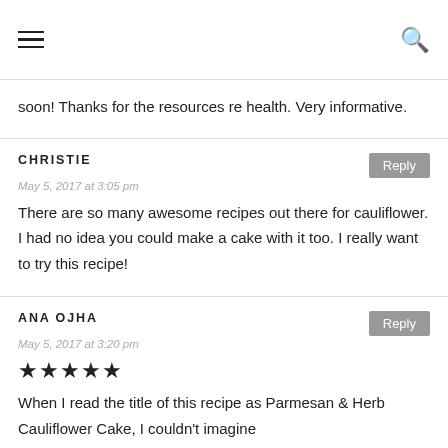Navigation header with hamburger menu and search icon
soon! Thanks for the resources re health. Very informative.
CHRISTIE
May 5, 2017 at 3:05 pm
There are so many awesome recipes out there for cauliflower. I had no idea you could make a cake with it too. I really want to try this recipe!
ANA OJHA
May 5, 2017 at 3:20 pm
★★★★★
When I read the title of this recipe as Parmesan & Herb Cauliflower Cake, I couldn't imagine